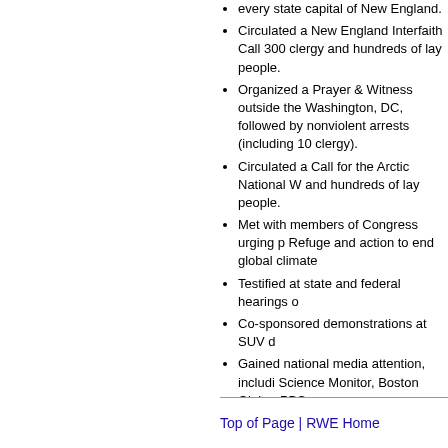every state capital of New England.
Circulated a New England Interfaith Call 300 clergy and hundreds of lay people.
Organized a Prayer & Witness outside the Washington, DC, followed by nonviolent arrests (including 10 clergy).
Circulated a Call for the Arctic National W and hundreds of lay people.
Met with members of Congress urging p Refuge and action to end global climate
Testified at state and federal hearings o
Co-sponsored demonstrations at SUV d
Gained national media attention, includi Science Monitor, Boston Globe, PBS, a
postcodesex.co.uk | escort-review.co.uk thaisecretescorts.co.uk | massage-parlo escort.co.uk | massage-parlour.co.uk | b escortbay.co.uk | escortangels.co.uk | es escort-girls.co.uk | sex-in.uk | prostitutes | tantric-massage.org.uk | thai-massage. massage-places.co.uk | happy-ending-m sexworkersnearme.co.uk | nzescorts.nz ozzieescorts.com | brothelsnearme.com asian-massage-parlors.com | escortprof sexmassage.co.za | escorts-search.com massageplacesfinder.com | nurumassag local fuck in your city | marital affair dati | thai-massage-near-me.com
Top of Page | RWE Home